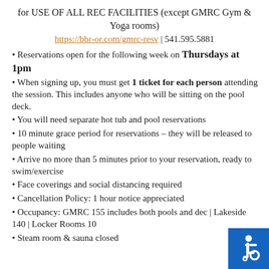for USE OF ALL REC FACILITIES (except GMRC Gym & Yoga rooms)
https://bbr-or.com/gmrc-resv | 541.595.5881
Reservations open for the following week on Thursdays at 1pm
When signing up, you must get 1 ticket for each person attending the session. This includes anyone who will be sitting on the pool deck.
You will need separate hot tub and pool reservations
10 minute grace period for reservations – they will be released to people waiting
Arrive no more than 5 minutes prior to your reservation, ready to swim/exercise
Face coverings and social distancing required
Cancellation Policy: 1 hour notice appreciated
Occupancy: GMRC 155 includes both pools and deck | Lakeside 140 | Locker Rooms 10
Steam room & sauna closed
[Figure (illustration): Blue square with white wheelchair accessibility icon in the bottom-right corner]